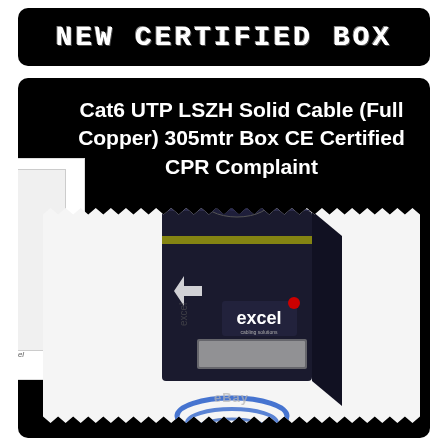NEW CERTIFIED BOX
Cat6 UTP LSZH Solid Cable (Full Copper) 305mtr Box CE Certified CPR Complaint
[Figure (photo): Excel branded Cat6 UTP LSZH Solid Cable (Full Copper) 305mtr box product photo, dark blue/black box with Excel logo and blue cable coiled at the bottom]
eBay